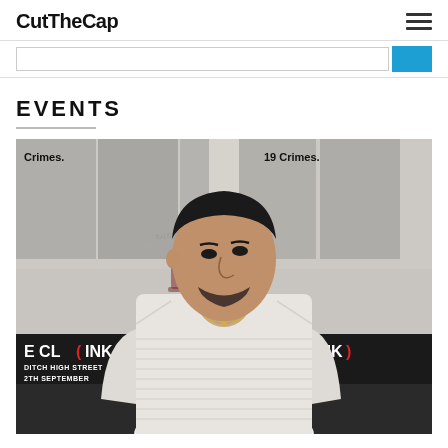CutTheCap
EVENTS
[Figure (photo): A tattooed man in a white ribbed sweater standing in front of event posters reading '19 Crimes' and 'THE CL(INK) — REDITCH HIGH STREET — 12TH SEPTEMBER']